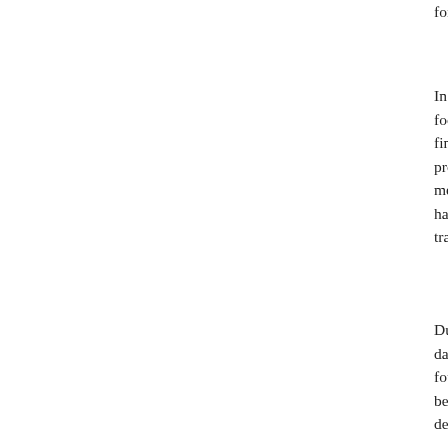for their hospitality and generosity…c'est norma...
In Normandy, my host family treated me like a p... food. My host mother called everyone she knew... finding a nice apartment for me in Toulon. She p... provided me with a list of contacts for my perso... me with my cell phone and my search for an ap... have to haul my luggage through the streets, up... train. Thank you and kisses, and tu es adorable,...
During my brief visit to Versailles located just ou... daughter of my host family. We had met only on... four young children welcomed me with a lovely d... bed for the night. She organized my transportati... destination: Lille, France.
I am currently renting a great studio apartment i... it for me. The people in charge of the apartment... apartment. They helped me with the landlord an... appropriate people. I was a complete stranger. A...